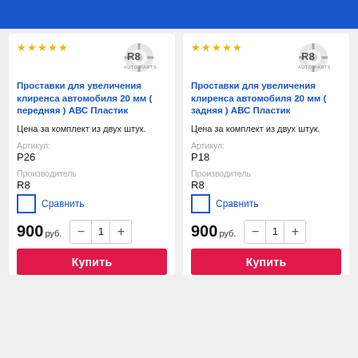[Figure (other): Blue header bar at top of page]
Проставки для увеличения клиренса автомобиля 20 мм ( передняя ) АВС Пластик
Цена за комплект из двух штук.
Артикул:
Р26
Производитель
R8
Сравнить
900 руб.
Купить
Проставки для увеличения клиренса автомобиля 20 мм ( задняя ) АВС Пластик
Цена за комплект из двух штук.
Артикул:
Р18
Производитель
R8
Сравнить
900 руб.
Купить